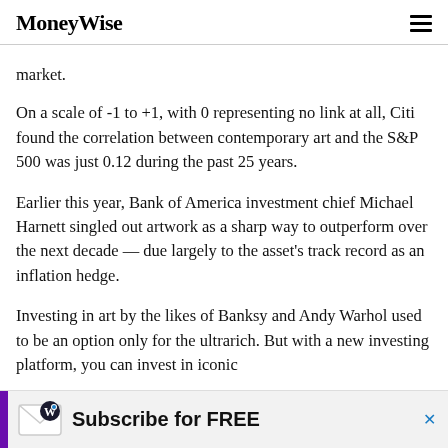MoneyWise
market.
On a scale of -1 to +1, with 0 representing no link at all, Citi found the correlation between contemporary art and the S&P 500 was just 0.12 during the past 25 years.
Earlier this year, Bank of America investment chief Michael Harnett singled out artwork as a sharp way to outperform over the next decade — due largely to the asset's track record as an inflation hedge.
Investing in art by the likes of Banksy and Andy Warhol used to be an option only for the ultrarich. But with a new investing platform, you can invest in iconic
[Figure (other): Advertisement banner: MoneyWise envelope logo with 'Subscribe for FREE' text and purple sidebar, with close X button]